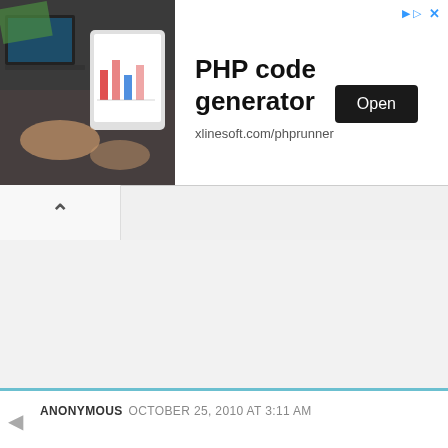[Figure (screenshot): Advertisement banner for PHP code generator. Left side shows a photo of a person using a tablet with charts/graphs. Right side shows the ad text 'PHP code generator', URL 'xlinesoft.com/phprunner', and an 'Open' button. Small triangle and X icons in top-right corner.]
[Figure (screenshot): Webpage UI element: a collapse/accordion button showing an upward-pointing caret (^) arrow, indicating the ad banner above can be collapsed.]
ANONYMOUS OCTOBER 25, 2010 AT 3:11 AM